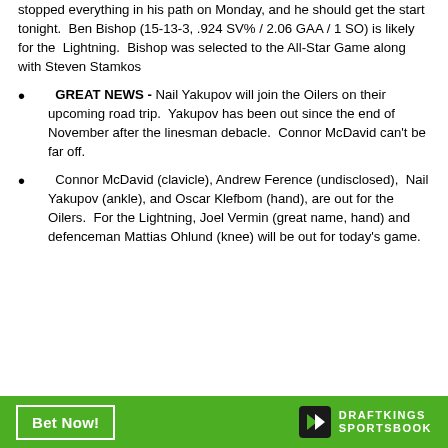stopped everything in his path on Monday, and he should get the start tonight.  Ben Bishop (15-13-3, .924 SV% / 2.06 GAA / 1 SO) is likely for the  Lightning.  Bishop was selected to the All-Star Game along with Steven Stamkos
GREAT NEWS - Nail Yakupov will join the Oilers on their upcoming road trip.  Yakupov has been out since the end of November after the linesman debacle.  Connor McDavid can't be far off.
Connor McDavid (clavicle), Andrew Ference (undisclosed),  Nail Yakupov (ankle), and Oscar Klefbom (hand), are out for the Oilers.  For the Lightning, Joel Vermin (great name, hand) and defenceman Mattias Ohlund (knee) will be out for today's game.
Bet Now! | DRAFTKINGS SPORTSBOOK